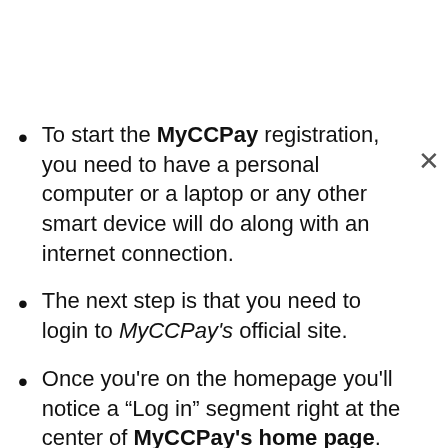To start the MyCCPay registration, you need to have a personal computer or a laptop or any other smart device will do along with an internet connection.
The next step is that you need to login to MyCCPay's official site.
Once you're on the homepage you'll notice a “Log in” segment right at the center of MyCCPay's home page.
Incase you haven't registered online at MyCCPay, right below the login option there's a segment that says